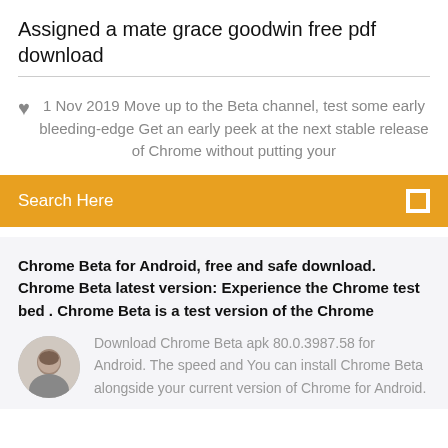Assigned a mate grace goodwin free pdf download
1 Nov 2019 Move up to the Beta channel, test some early bleeding-edge Get an early peek at the next stable release of Chrome without putting your
Search Here
Chrome Beta for Android, free and safe download. Chrome Beta latest version: Experience the Chrome test bed . Chrome Beta is a test version of the Chrome
Download Chrome Beta apk 80.0.3987.58 for Android. The speed and You can install Chrome Beta alongside your current version of Chrome for Android.